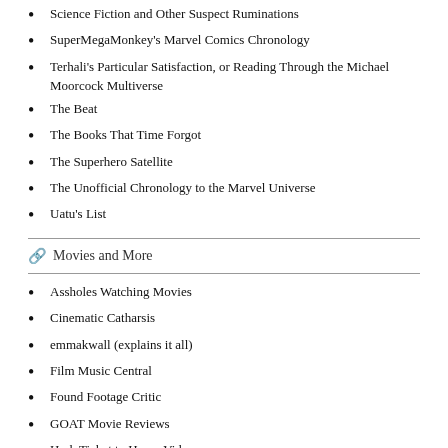Science Fiction and Other Suspect Ruminations
SuperMegaMonkey's Marvel Comics Chronology
Terhali's Particular Satisfaction, or Reading Through the Michael Moorcock Multiverse
The Beat
The Books That Time Forgot
The Superhero Satellite
The Unofficial Chronology to the Marvel Universe
Uatu's List
Movies and More
Assholes Watching Movies
Cinematic Catharsis
emmakwall (explains it all)
Film Music Central
Found Footage Critic
GOAT Movie Reviews
Hark Ticket to Home Video
IMDB
Jordan and Eddie (The Movie Guys)
Keith & the Movies
Make Mine Criterion!
Movie Reviews 101
Parlor of Horror